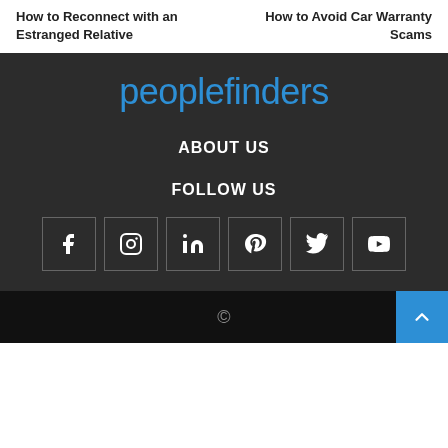How to Reconnect with an Estranged Relative
How to Avoid Car Warranty Scams
[Figure (logo): PeopleFinders logo in blue text on dark background]
ABOUT US
FOLLOW US
[Figure (infographic): Social media icons: Facebook, Instagram, LinkedIn, Pinterest, Twitter, YouTube — each in a square border]
© (copyright symbol)